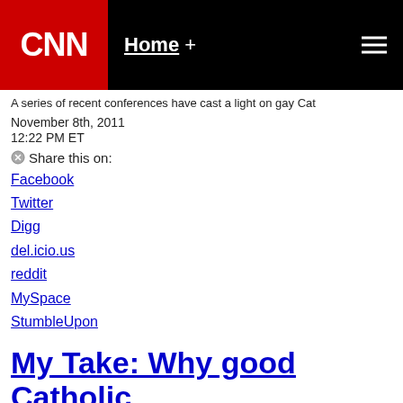CNN | Home +
A series of recent conferences have cast a light on gay Cat
November 8th, 2011
12:22 PM ET
Share this on:
Facebook
Twitter
Digg
del.icio.us
reddit
MySpace
StumbleUpon
My Take: Why good Catholic challenging church line on homosexuality